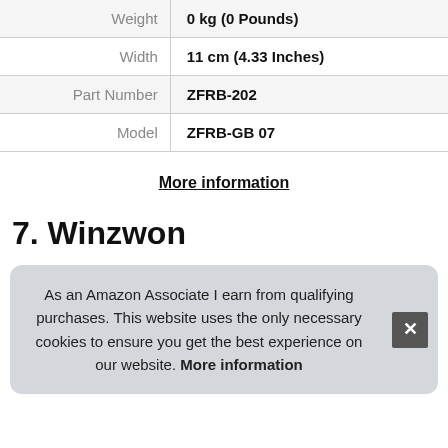| Weight | 0 kg (0 Pounds) |
| Width | 11 cm (4.33 Inches) |
| Part Number | ZFRB-202 |
| Model | ZFRB-GB 07 |
More information
7. Winzwon
As an Amazon Associate I earn from qualifying purchases. This website uses the only necessary cookies to ensure you get the best experience on our website. More information